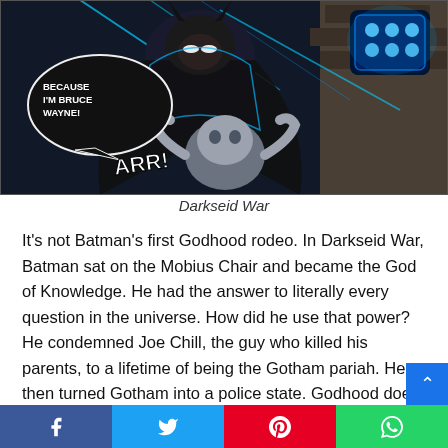[Figure (illustration): Comic book panel from Darkseid War showing Batman in a dark suit grappling with a grey-skinned character. Speech bubble reads 'BECAUSE I'M BRUCE WAYNE!' and sound effect 'ARR!' A glowing blue device is visible in the upper right.]
Darkseid War
It's not Batman's first Godhood rodeo. In Darkseid War, Batman sat on the Mobius Chair and became the God of Knowledge. He had the answer to literally every question in the universe. How did he use that power? He condemned Joe Chill, the guy who killed his parents, to a lifetime of being the Gotham pariah. He then turned Gotham into a police state. Godhood does not suit Batman because Bruce Wayne and